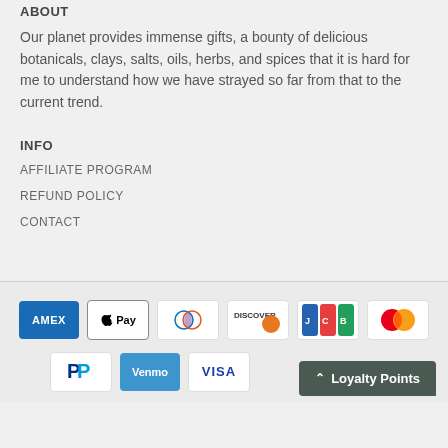ABOUT
Our planet provides immense gifts, a bounty of delicious botanicals, clays, salts, oils, herbs, and spices that it is hard for me to understand how we have strayed so far from that to the current trend.
INFO
AFFILIATE PROGRAM
REFUND POLICY
CONTACT
[Figure (other): Payment method icons: American Express, Apple Pay, Diners Club, Discover, JCB, Mastercard, PayPal, Venmo, Visa. Loyalty Points button in bottom right corner.]